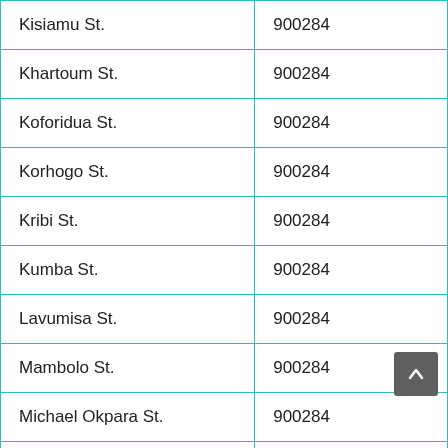| Kisiamu St. | 900284 |
| Khartoum St. | 900284 |
| Koforidua St. | 900284 |
| Korhogo St. | 900284 |
| Kribi St. | 900284 |
| Kumba St. | 900284 |
| Lavumisa St. | 900284 |
| Mambolo St. | 900284 |
| Michael Okpara St. | 900284 |
| Naimey St. | 900284 |
| … | 900284… |